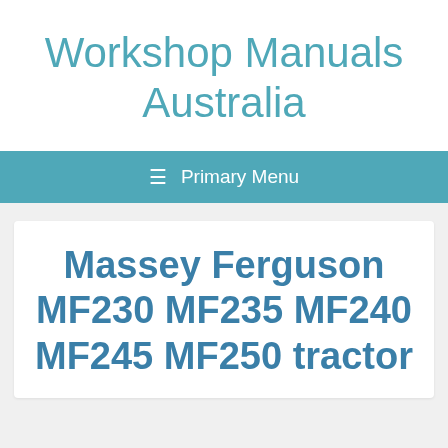Workshop Manuals Australia
≡  Primary Menu
Massey Ferguson MF230 MF235 MF240 MF245 MF250 tractor